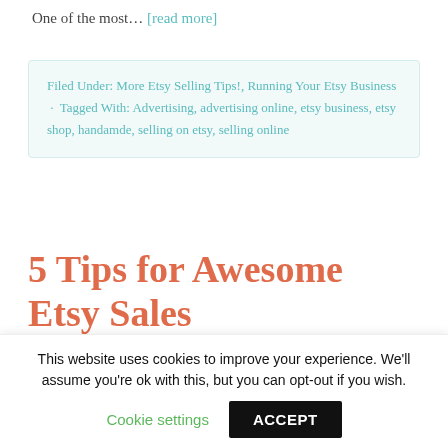One of the most… [read more]
Filed Under: More Etsy Selling Tips!, Running Your Etsy Business · Tagged With: Advertising, advertising online, etsy business, etsy shop, handamde, selling on etsy, selling online
5 Tips for Awesome Etsy Sales
By Kim Layton · 22 Comments
This website uses cookies to improve your experience. We'll assume you're ok with this, but you can opt-out if you wish. Cookie settings ACCEPT